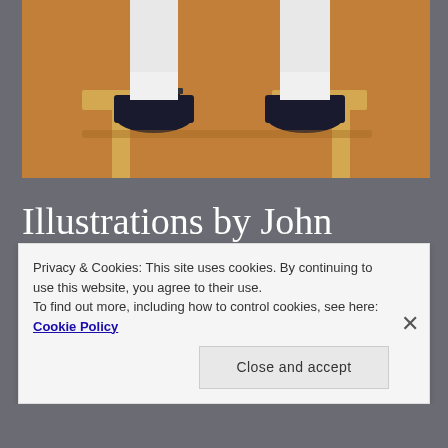[Figure (illustration): Illustration showing the lower legs and feet of a figure wearing black mary-jane shoes and white socks, seated on a wooden stool/bench, against a warm brown/tan background]
Illustrations by John Holcroft
JOHN HOLCROFT'S ILLUSTRATIONS WILL IMPRESS YOU NOT ONLY BECAUSE OF THE PERFECTION OF HIS TECHNIQUE, HIS GREAT SKILLS AND AMAZING DETAILED WORK. HE WILL INSPIRE YOU WITH THE
Privacy & Cookies: This site uses cookies. By continuing to use this website, you agree to their use.
To find out more, including how to control cookies, see here: Cookie Policy
Close and accept